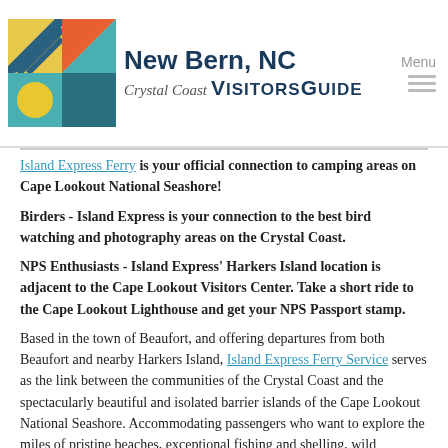New Bern, NC Crystal Coast VisitorsGuide
Camping at Cape Lookout: Island Express Ferry is your official connection to camping areas on Cape Lookout National Seashore!
Birders - Island Express is your connection to the best bird watching and photography areas on the Crystal Coast.
NPS Enthusiasts - Island Express' Harkers Island location is adjacent to the Cape Lookout Visitors Center. Take a short ride to the Cape Lookout Lighthouse and get your NPS Passport stamp.
Based in the town of Beaufort, and offering departures from both Beaufort and nearby Harkers Island, Island Express Ferry Service serves as the link between the communities of the Crystal Coast and the spectacularly beautiful and isolated barrier islands of the Cape Lookout National Seashore. Accommodating passengers who want to explore the miles of pristine beaches, exceptional fishing and shelling, wild